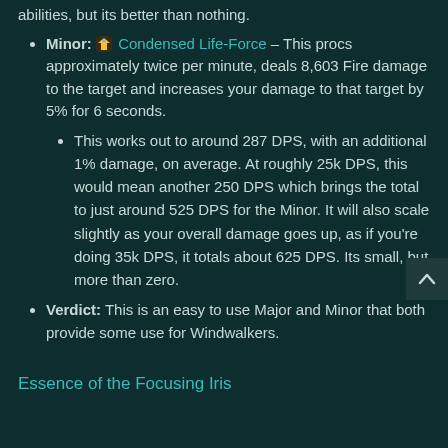abilities, but its better than nothing.
Minor: Condensed Life-Force – This procs approximately twice per minute, deals 8,603 Fire damage to the target and increases your damage to that target by 5% for 6 seconds.
This works out to around 287 DPS, with an additional 1% damage, on average. At roughly 25k DPS, this would mean another 250 DPS which brings the total to just around 525 DPS for the Minor. It will also scale slightly as your overall damage goes up, as if you're doing 35k DPS, it totals about 625 DPS. Its small, but more than zero.
Verdict: This is an easy to use Major and Minor that both provide some use for Windwalkers.
Essence of the Focusing Iris